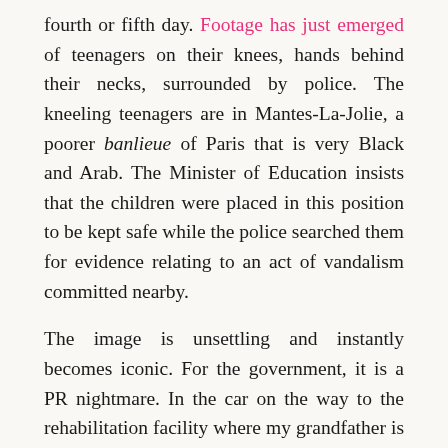fourth or fifth day. Footage has just emerged of teenagers on their knees, hands behind their necks, surrounded by police. The kneeling teenagers are in Mantes-La-Jolie, a poorer banlieue of Paris that is very Black and Arab. The Minister of Education insists that the children were placed in this position to be kept safe while the police searched them for evidence relating to an act of vandalism committed nearby.
The image is unsettling and instantly becomes iconic. For the government, it is a PR nightmare. In the car on the way to the rehabilitation facility where my grandfather is recovering from surgery, we listen to people call in to a radio show. A man in his 70s expresses dismay at the excess of force. He's old enough